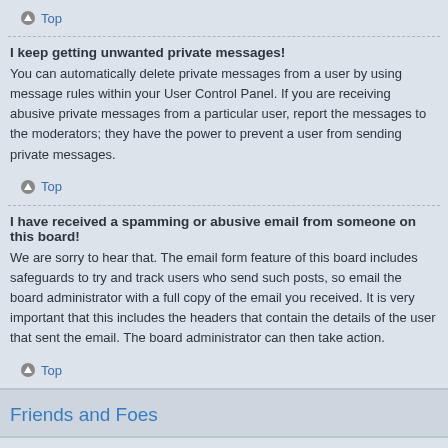Top
I keep getting unwanted private messages!
You can automatically delete private messages from a user by using message rules within your User Control Panel. If you are receiving abusive private messages from a particular user, report the messages to the moderators; they have the power to prevent a user from sending private messages.
Top
I have received a spamming or abusive email from someone on this board!
We are sorry to hear that. The email form feature of this board includes safeguards to try and track users who send such posts, so email the board administrator with a full copy of the email you received. It is very important that this includes the headers that contain the details of the user that sent the email. The board administrator can then take action.
Top
Friends and Foes
What are my Friends and Foes lists?
You can use these lists to organise other members of the board. Members added to your friends list will be listed within your User Control Panel for quick access to see their online status and to send them private messages. Subject to